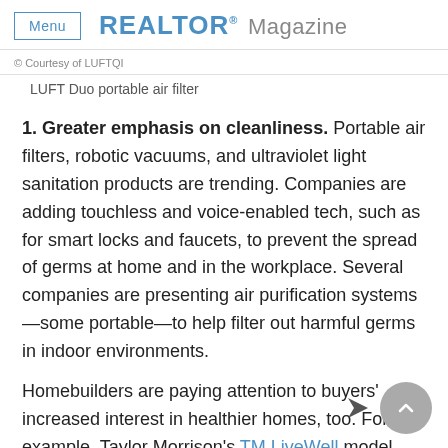Menu | REALTOR® Magazine
© Courtesy of LUFTQI
LUFT Duo portable air filter
1. Greater emphasis on cleanliness. Portable air filters, robotic vacuums, and ultraviolet light sanitation products are trending. Companies are adding touchless and voice-enabled tech, such as for smart locks and faucets, to prevent the spread of germs at home and in the workplace. Several companies are presenting air purification systems—some portable—to help filter out harmful germs in indoor environments.
Homebuilders are paying attention to buyers' increased interest in healthier homes, too. For example, Taylor Morrison's TM LiveWell model home highlights